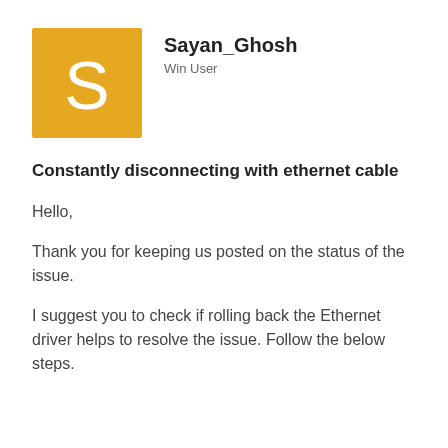[Figure (illustration): User avatar: a golden/amber square with white letter S centered inside]
Sayan_Ghosh
Win User
Constantly disconnecting with ethernet cable
Hello,
Thank you for keeping us posted on the status of the issue.
I suggest you to check if rolling back the Ethernet driver helps to resolve the issue. Follow the below steps.